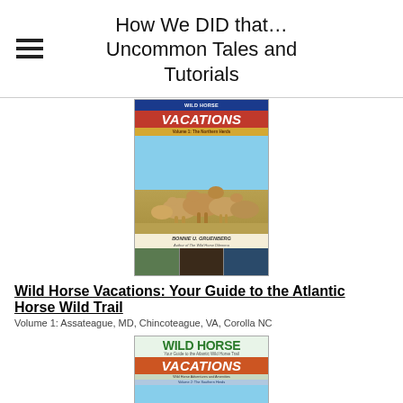How We DID that… Uncommon Tales and Tutorials
[Figure (photo): Book cover for Wild Horse Vacations Volume 1: The Northern Herds by Bonnie U. Gruenberg, showing wild horses running on a beach with small thumbnail photos at the bottom]
Wild Horse Vacations: Your Guide to the Atlantic Horse Wild Trail
Volume 1: Assateague, MD, Chincoteague, VA, Corolla NC
[Figure (photo): Book cover for Wild Horse Vacations Volume 2: The Southern Herds, showing a wild horse running with green and orange title lettering]